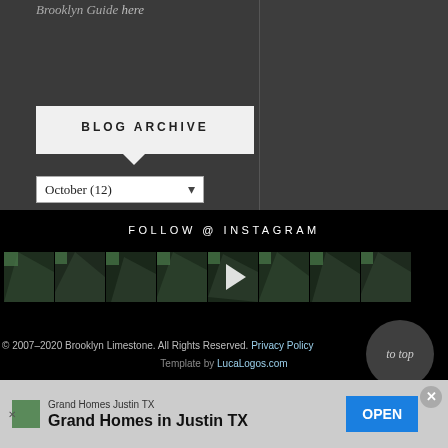Brooklyn Guide here
BLOG ARCHIVE
October (12)
FOLLOW @ INSTAGRAM
[Figure (photo): Instagram photo grid with 8 thumbnail images and a play button overlay]
© 2007–2020 Brooklyn Limestone. All Rights Reserved. Privacy Policy
Template by LucaLogos.com
[Figure (other): to top circular button]
Grand Homes Justin TX
Grand Homes in Justin TX
OPEN